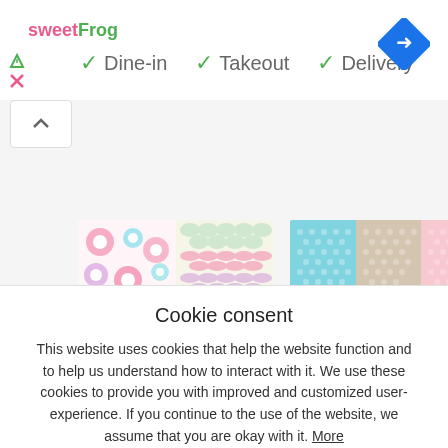[Figure (logo): sweetFrog logo in pink and green text]
✓ Dine-in  ✓ Takeout  ✓ Delivery
[Figure (illustration): NEW Confectionery Doodled Blooms + floral patterned fabric thumbnail]
NEW Confectionery Doodled Blooms +
[Figure (illustration): NEW CU Sets – Mmm & Take a Trip + pastel color swatches thumbnail]
NEW CU Sets – Mmm & Take a Trip +
Cookie consent
This website uses cookies that help the website function and to help us understand how to interact with it. We use these cookies to provide you with improved and customized user-experience. If you continue to the use of the website, we assume that you are okay with it. More